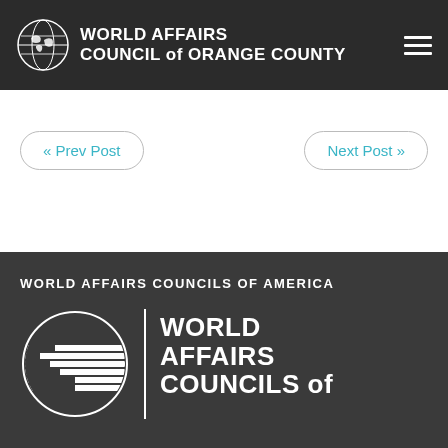WORLD AFFAIRS COUNCIL of ORANGE COUNTY
« Prev Post
Next Post »
WORLD AFFAIRS COUNCILS OF AMERICA
[Figure (logo): World Affairs Councils of America logo — globe icon with horizontal stripes and text reading WORLD AFFAIRS COUNCILS of]
WORLD AFFAIRS COUNCILS of